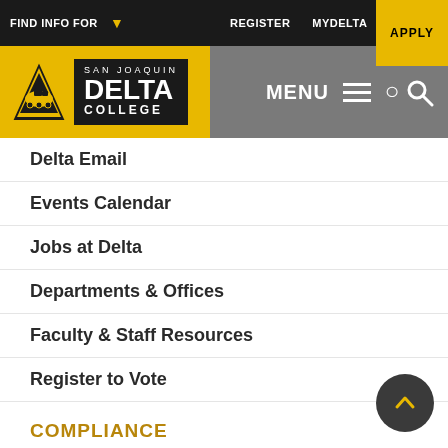FIND INFO FOR  REGISTER  MYDELTA  CANVAS  APPLY
[Figure (logo): San Joaquin Delta College logo with yellow background, black triangle emblem, and white text on black: SAN JOAQUIN DELTA COLLEGE]
Delta Email
Events Calendar
Jobs at Delta
Departments & Offices
Faculty & Staff Resources
Register to Vote
COMPLIANCE
Accessibility
Accreditation